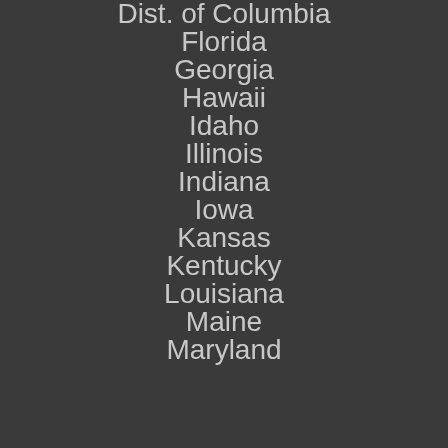Dist. of Columbia
Florida
Georgia
Hawaii
Idaho
Illinois
Indiana
Iowa
Kansas
Kentucky
Louisiana
Maine
Maryland